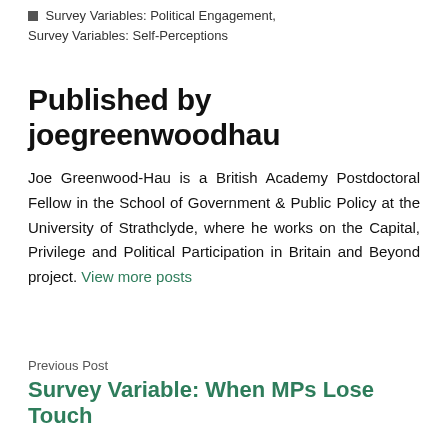Survey Variables: Political Engagement, Survey Variables: Self-Perceptions
Published by joegreenwoodhau
Joe Greenwood-Hau is a British Academy Postdoctoral Fellow in the School of Government & Public Policy at the University of Strathclyde, where he works on the Capital, Privilege and Political Participation in Britain and Beyond project. View more posts
Previous Post
Survey Variable: When MPs Lose Touch